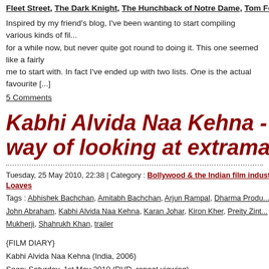Fleet Street, The Dark Knight, The Hunchback of Notre Dame, Tom Felton, To...
Inspired by my friend's blog, I've been wanting to start compiling various kinds of fi... for a while now, but never quite got round to doing it. This one seemed like a fairly ... me to start with. In fact I've ended up with two lists. One is the actual favourite [...]
5 Comments
Kabhi Alvida Naa Kehna - a uni... way of looking at extramarital af...
Tuesday, 25 May 2010, 22:38 | Category : Bollywood & the Indian film industry, ... Loaves
Tags : Abhishek Bachchan, Amitabh Bachchan, Arjun Rampal, Dharma Produ... John Abraham, Kabhi Alvida Naa Kehna, Karan Johar, Kiron Kher, Preity Zint... Mukherji, Shahrukh Khan, trailer
{FILM DIARY}
Kabhi Alvida Naa Kehna (India, 2006)
Seen: Saturday, 1st May 2010 (DVD, repeat viewing)
Runtime: 193'
Director: Karan Johar
Cast: Amitabh Bachchan, Shahrukh Khan, Rani Mukherjee, Preity Zinta, Abhish...